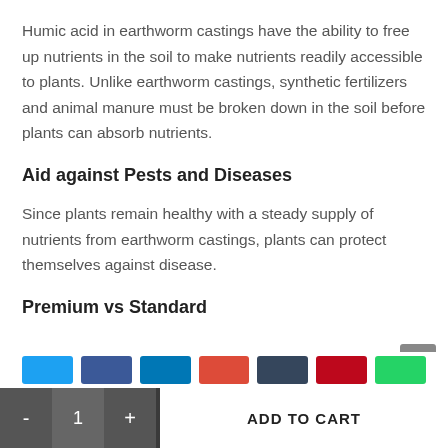Humic acid in earthworm castings have the ability to free up nutrients in the soil to make nutrients readily accessible to plants. Unlike earthworm castings, synthetic fertilizers and animal manure must be broken down in the soil before plants can absorb nutrients.
Aid against Pests and Diseases
Since plants remain healthy with a steady supply of nutrients from earthworm castings, plants can protect themselves against disease.
Premium vs Standard
[Figure (other): Row of social sharing buttons (Twitter, Facebook, LinkedIn, Google+, Tumblr, Pinterest, WhatsApp)]